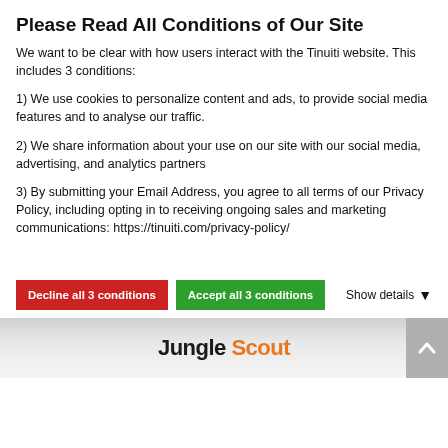Please Read All Conditions of Our Site
We want to be clear with how users interact with the Tinuiti website. This includes 3 conditions:
1) We use cookies to personalize content and ads, to provide social media features and to analyse our traffic.
2) We share information about your use on our site with our social media, advertising, and analytics partners
3) By submitting your Email Address, you agree to all terms of our Privacy Policy, including opting in to receiving ongoing sales and marketing communications: https://tinuiti.com/privacy-policy/
[Figure (screenshot): Cookie consent dialog buttons: red 'Decline all 3 conditions' button, green 'Accept all 3 conditions' button, and 'Show details' dropdown link]
[Figure (logo): Jungle Scout logo with 'Jungle' in black bold and 'Scout' in orange, on a grey gradient banner background with a scroll-to-top button on the right]